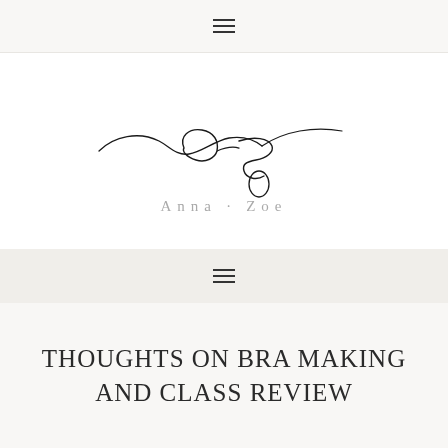≡
[Figure (logo): Anna-Zoe cursive script logo with decorative flourish above the text 'Anna - Zoe' in light grey spaced lettering]
≡
THOUGHTS ON BRA MAKING AND CLASS REVIEW